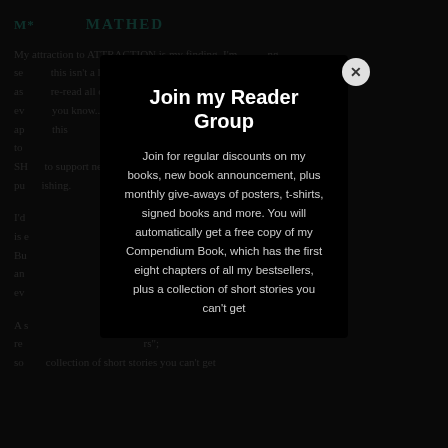MATCHED
My attraction to ATTRACTION is my finding. I'm searching self... this isn't a love story... steps, as I re-read all of it, I am compelled as an acting everything you know... like... ALL. I approach this... access to... my SH... to support new authors and self-publishing...
I'd... luck is e... ot!) Bu... out and... nd ev...
A s... ter rev... rs; so... collection of short stories you can't get
Join my Reader Group
Join for regular discounts on my books, new book announcement, plus monthly give-aways of posters, t-shirts, signed books and more. You will automatically get a free copy of my Compendium Book, which has the first eight chapters of all my bestsellers, plus a collection of short stories you can't get